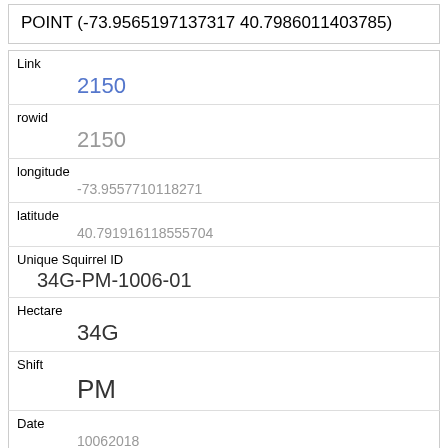POINT (-73.9565197137317 40.7986011403785)
| Link | 2150 |
| rowid | 2150 |
| longitude | -73.9557710118271 |
| latitude | 40.791916118555704 |
| Unique Squirrel ID | 34G-PM-1006-01 |
| Hectare | 34G |
| Shift | PM |
| Date | 10062018 |
| Hectare Squirrel Number | 1 |